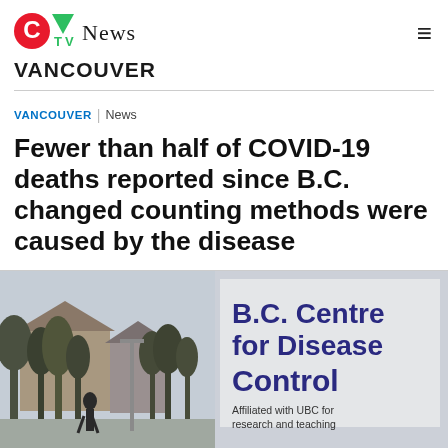[Figure (logo): CTV News logo with red circle C, green triangle TV, and NEWS text]
VANCOUVER
VANCOUVER | News
Fewer than half of COVID-19 deaths reported since B.C. changed counting methods were caused by the disease
[Figure (photo): Photo of B.C. Centre for Disease Control sign reading 'B.C. Centre for Disease Control' with text 'Affiliated with UBC for research and teaching' visible at bottom, with trees and building in background]